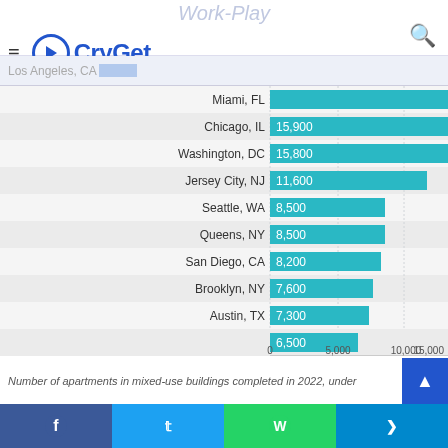CryGet
[Figure (bar-chart): ]
Number of apartments in mixed-use buildings completed in 2022, under